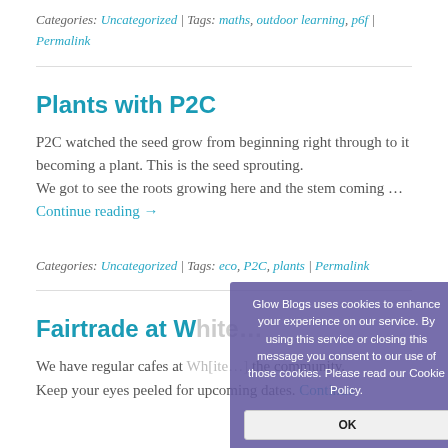Categories: Uncategorized | Tags: maths, outdoor learning, p6f | Permalink
Plants with P2C
P2C watched the seed grow from beginning right through to it becoming a plant. This is the seed sprouting. We got to see the roots growing here and the stem coming … Continue reading →
Categories: Uncategorized | Tags: eco, P2C, plants | Permalink
[Figure (screenshot): Cookie consent popup overlay: 'Glow Blogs uses cookies to enhance your experience on our service. By using this service or closing this message you consent to our use of those cookies. Please read our Cookie Policy.' with an OK button.]
Fairtrade at W[hite…]
We have regular cafes at Wh[ite…] the community. Keep your eyes peeled for upcoming dates. Continue